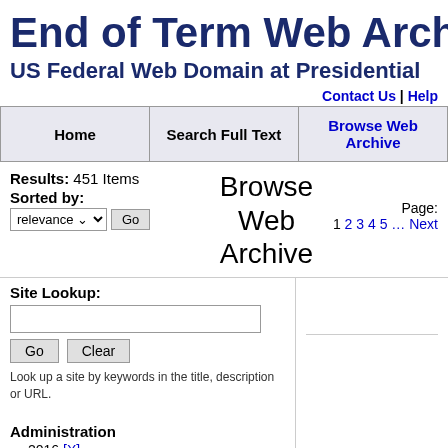End of Term Web Archive
US Federal Web Domain at Presidential
Contact Us | Help
| Home | Search Full Text | Browse Web Archive |
| --- | --- | --- |
Results: 451 Items
Sorted by: relevance Go
Browse Web Archive
Page: 1 2 3 4 5 … Next
Site Lookup:
Look up a site by keywords in the title, description or URL.
Administration
2016 [X]